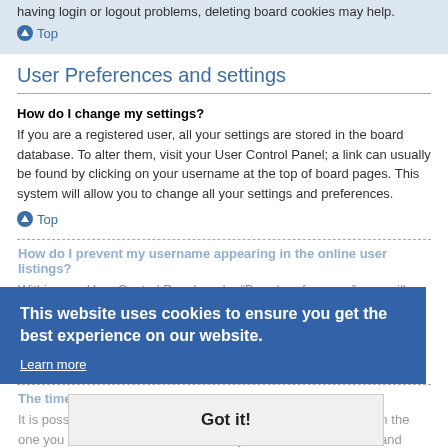having login or logout problems, deleting board cookies may help.
Top
User Preferences and settings
How do I change my settings?
If you are a registered user, all your settings are stored in the board database. To alter them, visit your User Control Panel; a link can usually be found by clicking on your username at the top of board pages. This system will allow you to change all your settings and preferences.
Top
How do I prevent my username appearing in the online user listings?
Within your User Control Panel, under “Board preferences”, you will find the option Hide your online status. Enable this option and you will only appear to the administrators, moderators and yourself. You will be counted as a hidden user.
Top
The times are not correct!
It is possible the time displayed is from a timezone different from the one you are in. If this is the case, visit your User Control Panel and change your timezone to match your particular area, e.g. London, Paris, New York, Sydney, etc. Please note that changing the timezone, like most settings, can only be done by registered users. If you are not registered, this is a good time to do so.
[Figure (other): Cookie consent banner overlay: 'This website uses cookies to ensure you get the best experience on our website.' with 'Learn more' link and 'Got it!' button]